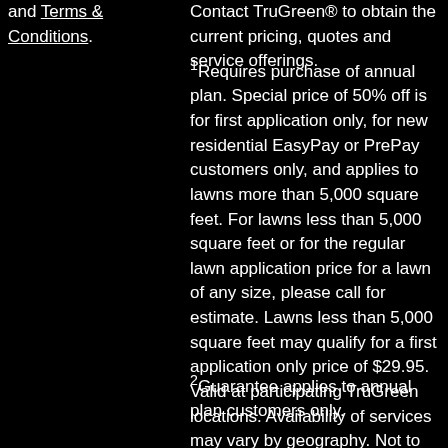and Terms & Conditions.
Contact TruGreen® to obtain the current pricing, quotes and service offerings.
1Requires purchase of annual plan. Special price of 50% off is for first application only, for new residential EasyPay or PrePay customers only, and applies to lawns more than 5,000 square feet. For lawns less than 5,000 square feet or for the regular lawn application price for a lawn of any size, please call for estimate. Lawns less than 5,000 square feet may qualify for a first application only price of $29.95. Valid at participating TruGreen locations. Availability of services may vary by geography. Not to be combined with or used in conjunction with any other offer or discount.
2Guarantee applies to annual plan customers only.